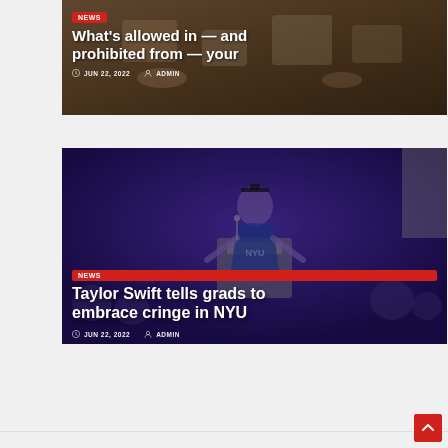[Figure (photo): Top article card with dark overlay over a photo of luggage/packing items on a wooden background. Shows NEWS badge, headline 'What's allowed in — and prohibited from — your', date JUN 22, 2022, author ADMIN.]
[Figure (photo): Second article card with a photo of Taylor Swift in graduation regalia speaking at a NYU commencement on a purple-lit stage. Shows NEWS badge, headline 'Taylor Swift tells grads to embrace cringe in NYU', date JUN 22, 2022, author ADMIN.]